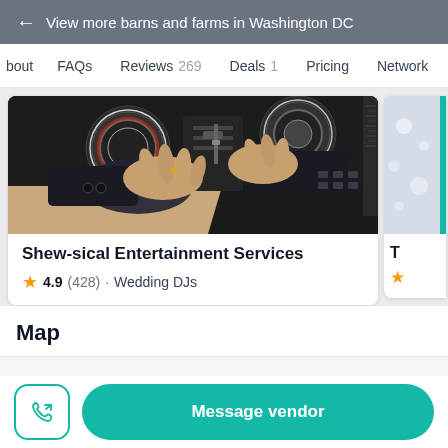← View more barns and farms in Washington DC
bout  FAQs  Reviews 269  Deals 1  Pricing  Network
[Figure (photo): Hands operating DJ turntable/mixer equipment on dark background]
Shew-sical Entertainment Services
⭐ 4.9 (428) · Wedding DJs
Map
Message vendor